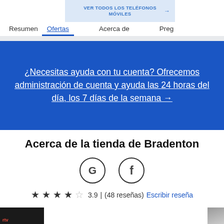VER TODOS LOS TELÉFONOS MÓVILES
Resumen | Ofertas | Acerca de | Preg
[Figure (screenshot): Blue promotional banner with white underlined text: ¿Necesitas ayuda con tu cuenta? Ofrecemos administración de cuenta y ayuda las 24 horas del día, los 7 días de la semana →]
Acerca de la tienda de Bradenton
[Figure (infographic): Google (G) and Facebook (f) social media icon circles]
★★★★☆ 3.9 | (48 reseñas) Escribir reseña
[Figure (photo): Partial store photos on left and right edges]